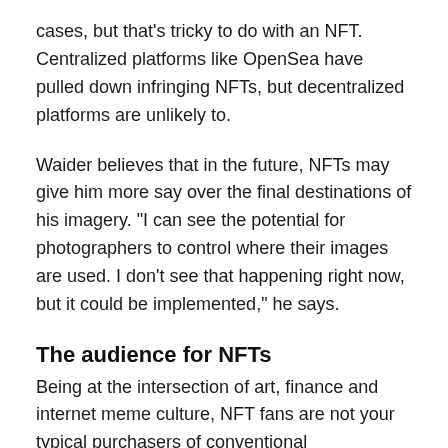cases, but that’s tricky to do with an NFT. Centralized platforms like OpenSea have pulled down infringing NFTs, but decentralized platforms are unlikely to.
Waider believes that in the future, NFTs may give him more say over the final destinations of his imagery. “I can see the potential for photographers to control where their images are used. I don’t see that happening right now, but it could be implemented,” he says.
The audience for NFTs
Being at the intersection of art, finance and internet meme culture, NFT fans are not your typical purchasers of conventional photographic art.
“Almost always a totally different audience,” says Waider. “They are mostly coming from the crypto world. It’s a lot